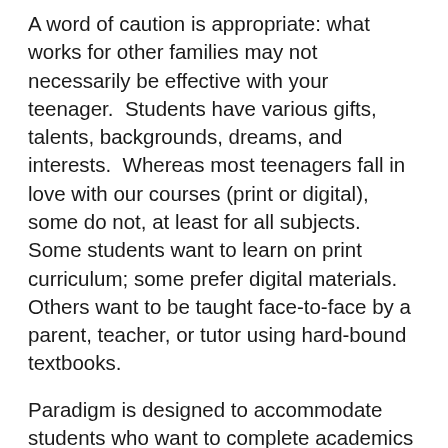A word of caution is appropriate: what works for other families may not necessarily be effective with your teenager.  Students have various gifts, talents, backgrounds, dreams, and interests.  Whereas most teenagers fall in love with our courses (print or digital), some do not, at least for all subjects.  Some students want to learn on print curriculum; some prefer digital materials.  Others want to be taught face-to-face by a parent, teacher, or tutor using hard-bound textbooks.
Paradigm is designed to accommodate students who want to complete academics as rapidly as possible, or as slowly as needed, to master content anywhere, anytime without depending on teachers who meter-out academics based on a calendar or classroom teaching schedules.  Moreover, Paradigm is carefully designed to